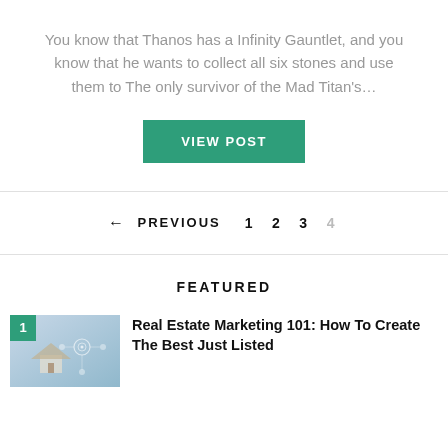You know that Thanos has a Infinity Gauntlet, and you know that he wants to collect all six stones and use them to The only survivor of the Mad Titan's…
VIEW POST
← PREVIOUS  1  2  3  4
FEATURED
Real Estate Marketing 101: How To Create The Best Just Listed